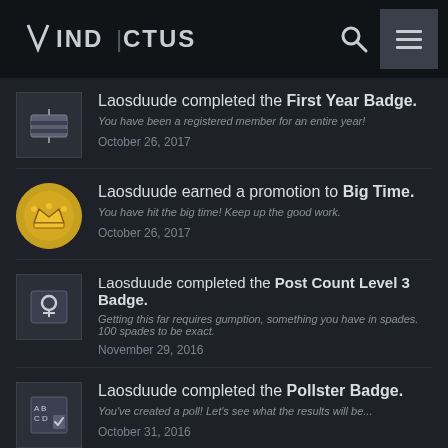VINDICTUS
Laosduude completed the First Year Badge. You have been a registered member for an entire year! October 26, 2017
Laosduude earned a promotion to Big Time. You have hit the big time! Keep up the good work. October 26, 2017
Laosduude completed the Post Count Level 3 Badge. Getting this far requires gumption, something you have in spades. 100 spades to be exact. November 29, 2016
Laosduude completed the Pollster Badge. You've created a poll! Let's see what the results will be... October 31, 2016